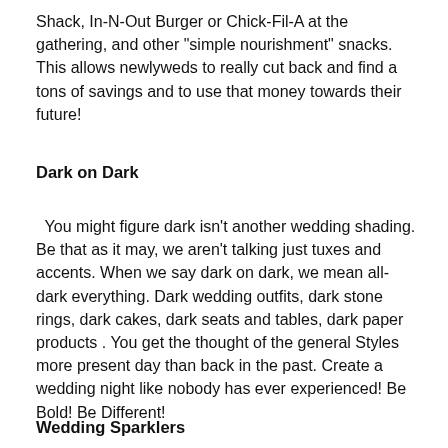Shack, In-N-Out Burger or Chick-Fil-A at the gathering, and other "simple nourishment" snacks. This allows newlyweds to really cut back and find a tons of savings and to use that money towards their future!
Dark on Dark
You might figure dark isn't another wedding shading. Be that as it may, we aren't talking just tuxes and accents. When we say dark on dark, we mean all-dark everything. Dark wedding outfits, dark stone rings, dark cakes, dark seats and tables, dark paper products . You get the thought of the general Styles more present day than back in the past. Create a wedding night like nobody has ever experienced! Be Bold! Be Different!
Wedding Sparklers